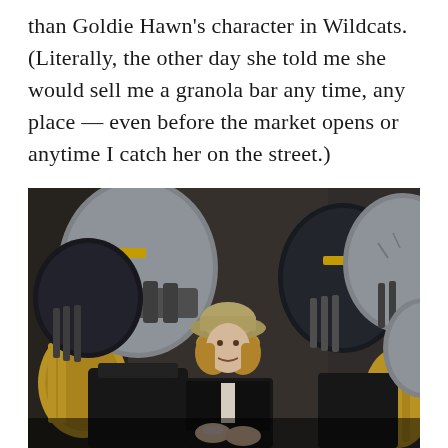than Goldie Hawn's character in Wildcats. (Literally, the other day she told me she would sell me a granola bar any time, any place — even before the market opens or anytime I catch her on the street.)
[Figure (photo): A woman in a tan bucket hat and black vest surrounded by football players in gray and black helmets, appearing to be in a team huddle on a field. Scene appears to be from the movie Wildcats.]